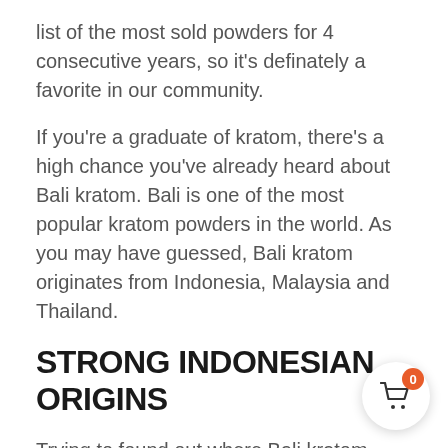list of the most sold powders for 4 consecutive years, so it's definately a favorite in our community.
If you're a graduate of kratom, there's a high chance you've already heard about Bali kratom. Bali is one of the most popular kratom powders in the world. As you may have guessed, Bali kratom originates from Indonesia, Malaysia and Thailand.
STRONG INDONESIAN ORIGINS
Trying to found out where Bali kratom originates is a challenge, the origins of the Bali strain are a source of conflict. Some of the most popular kratom platforms like kratom.org stated that the name comes from the fact that Bali is synonymous with serenity, peace, and